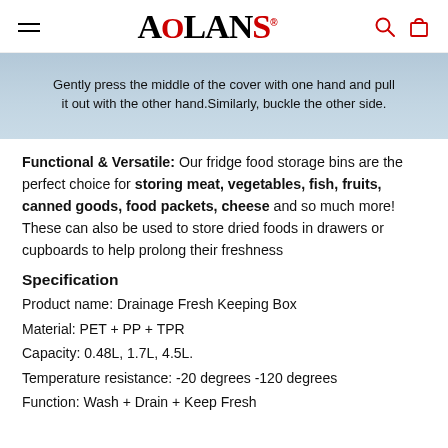AOLANS (logo with hamburger menu, search and cart icons)
[Figure (photo): Partial product image with text overlay showing hands demonstrating how to press the cover of a storage container]
Gently press the middle of the cover with one hand and pull it out with the other hand.Similarly, buckle the other side.
Functional & Versatile: Our fridge food storage bins are the perfect choice for storing meat, vegetables, fish, fruits, canned goods, food packets, cheese and so much more! These can also be used to store dried foods in drawers or cupboards to help prolong their freshness
Specification
Product name: Drainage Fresh Keeping Box
Material: PET + PP + TPR
Capacity: 0.48L, 1.7L, 4.5L.
Temperature resistance: -20 degrees -120 degrees
Function: Wash + Drain + Keep Fresh